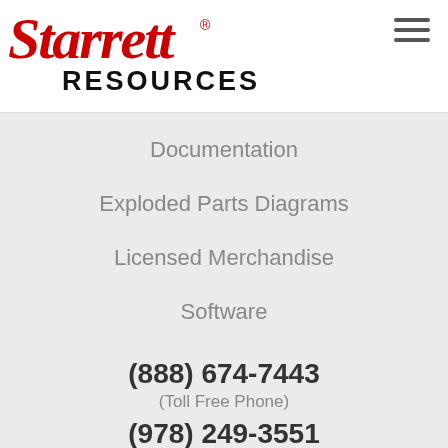[Figure (logo): Starrett brand logo in red with registered trademark symbol]
RESOURCES
Documentation
Exploded Parts Diagrams
Licensed Merchandise
Software
Spare Parts
Competitor Cross Reference
(888) 674-7443
(Toll Free Phone)
(978) 249-3551